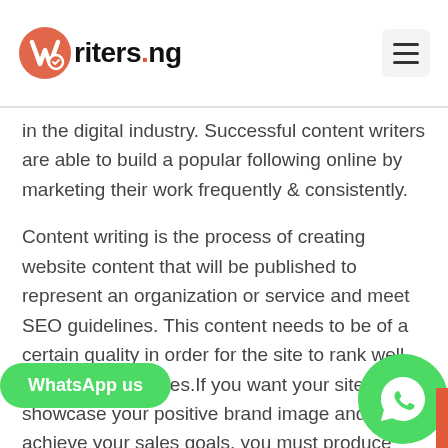Writers.ng
in the digital industry. Successful content writers are able to build a popular following online by marketing their work frequently & consistently.
Content writing is the process of creating website content that will be published to represent an organization or service and meet SEO guidelines. This content needs to be of a certain quality in order for the site to rank well with search engines.If you want your site to showcase your positive brand image and achieve your sales goals, you must produce descriptive, original, understandable, SEO friendly content.
But not only that: You should also enhance your